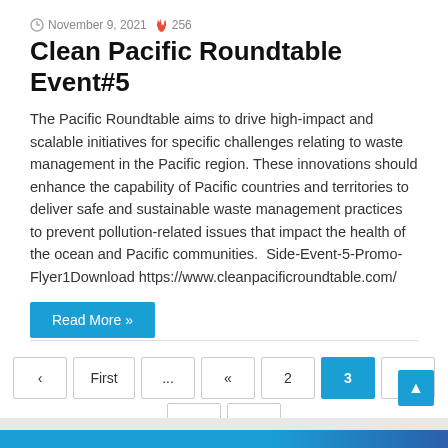November 9, 2021  256
Clean Pacific Roundtable Event#5
The Pacific Roundtable aims to drive high-impact and scalable initiatives for specific challenges relating to waste management in the Pacific region. These innovations should enhance the capability of Pacific countries and territories to deliver safe and sustainable waste management practices to prevent pollution-related issues that impact the health of the ocean and Pacific communities.  Side-Event-5-Promo-Flyer1Download https://www.cleanpacificroundtable.com/
Read More »
‹  First  ...  «  2  3  4  »  10  20  ...  Last  ›